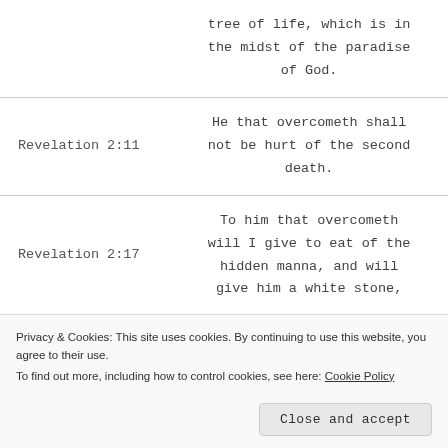| Reference | Verse |
| --- | --- |
|  | tree of life, which is in the midst of the paradise of God. |
| Revelation 2:11 | He that overcometh shall not be hurt of the second death. |
| Revelation 2:17 | To him that overcometh will I give to eat of the hidden manna, and will give him a white stone, |
Privacy & Cookies: This site uses cookies. By continuing to use this website, you agree to their use. To find out more, including how to control cookies, see here: Cookie Policy
Close and accept